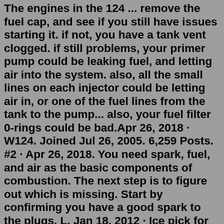The engines in the 124 ... remove the fuel cap, and see if you still have issues starting it. if not, you have a tank vent clogged. if still problems, your primer pump could be leaking fuel, and letting air into the system. also, all the small lines on each injector could be letting air in, or one of the fuel lines from the tank to the pump... also, your fuel filter 0-rings could be bad.Apr 26, 2018 · W124. Joined Jul 26, 2005. 6,259 Posts. #2 · Apr 26, 2018. You need spark, fuel, and air as the basic components of combustion. The next step is to figure out which is missing. Start by confirming you have a good spark to the plugs. L. Jan 18, 2012 · Ice pick for injector harness is not an LBZ issue at all. Said harness was changed in 05/06 yr. This totally smells like severe cold weather "broke" the seal on the fuel filter and allowed air to seep into system. If the car cranks but won't start, the problem lies with one of the components of the chain reaction described above. Usually, when you hear the car continuously cranking, the starter motor is not the culprit but another part is. The most common causes are related